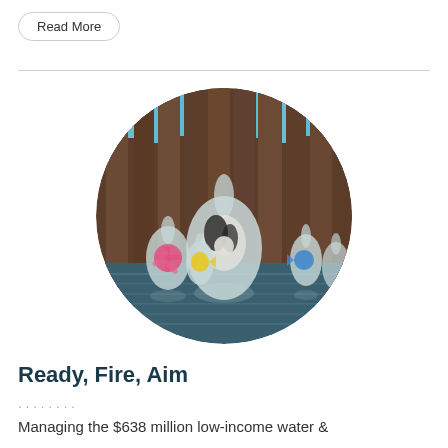Read More
[Figure (photo): Circular photo showing colorful toy fish (pink, yellow, black-and-white, blue) in plastic bags floating in water in front of wooden pilings, under a blue sky.]
Ready, Fire, Aim
........
Managing the $638 million low-income water &